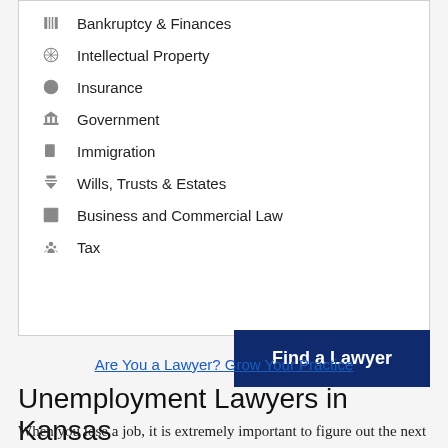Bankruptcy & Finances
Intellectual Property
Insurance
Government
Immigration
Wills, Trusts & Estates
Business and Commercial Law
Tax
Find a Lawyer
Are You a Lawyer? Grow Your Practice
Unemployment Lawyers in Kansas
When you lose a job, it is extremely important to figure out the next steps for your future. This can mean